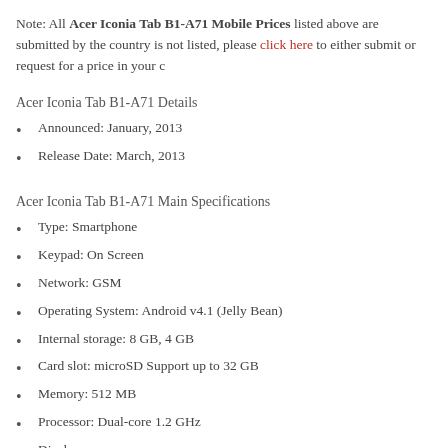Note: All Acer Iconia Tab B1-A71 Mobile Prices listed above are submitted by the country is not listed, please click here to either submit or request for a price in your c
Acer Iconia Tab B1-A71 Details
Announced: January, 2013
Release Date: March, 2013
Acer Iconia Tab B1-A71 Main Specifications
Type: Smartphone
Keypad: On Screen
Network: GSM
Operating System: Android v4.1 (Jelly Bean)
Internal storage: 8 GB, 4 GB
Card slot: microSD Support up to 32 GB
Memory: 512 MB
Processor: Dual-core 1.2 GHz
Display
Type: TFT, Capacitive Touchscreen, Multi Touch
Size: 7.0 inch
Resolution: 600 x 1024 pixels